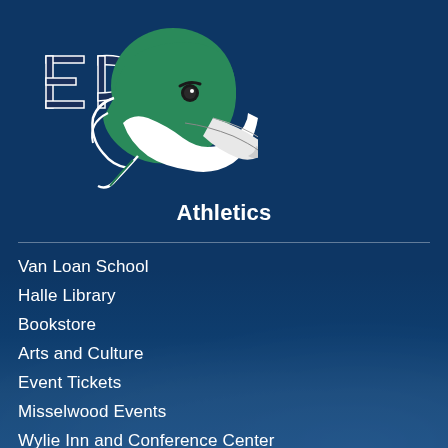[Figure (logo): Eastern Michigan University Eagles athletics logo — a stylized eagle/hawk head in green and white with 'EC' letters in navy blue on the left side]
Athletics
Van Loan School
Halle Library
Bookstore
Arts and Culture
Event Tickets
Misselwood Events
Wylie Inn and Conference Center
Careers